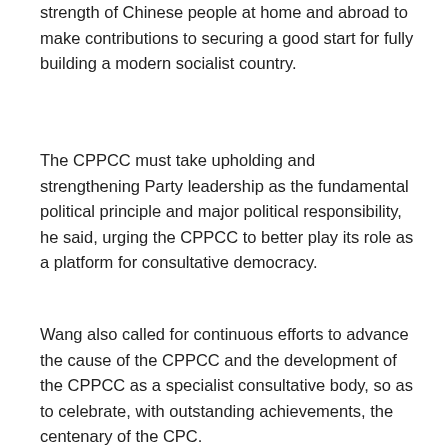strength of Chinese people at home and abroad to make contributions to securing a good start for fully building a modern socialist country.
The CPPCC must take upholding and strengthening Party leadership as the fundamental political principle and major political responsibility, he said, urging the CPPCC to better play its role as a platform for consultative democracy.
Wang also called for continuous efforts to advance the cause of the CPPCC and the development of the CPPCC as a specialist consultative body, so as to celebrate, with outstanding achievements, the centenary of the CPC.